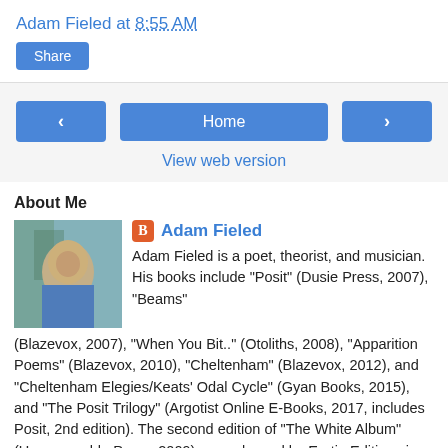Adam Fieled at 8:55 AM
Share
Home
View web version
About Me
Adam Fieled
Adam Fieled is a poet, theorist, and musician. His books include "Posit" (Dusie Press, 2007), "Beams" (Blazevox, 2007), "When You Bit.." (Otoliths, 2008), "Apparition Poems" (Blazevox, 2010), "Cheltenham" (Blazevox, 2012), and "Cheltenham Elegies/Keats' Odal Cycle" (Gyan Books, 2015), and "The Posit Trilogy" (Argotist Online E-Books, 2017, includes Posit, 2nd edition). The second edition of "The White Album" (Ungovernable Press, 2009) was released by Eratio Editions in 2018. His latest books are "Trish: A Romance" (Funtime Press,